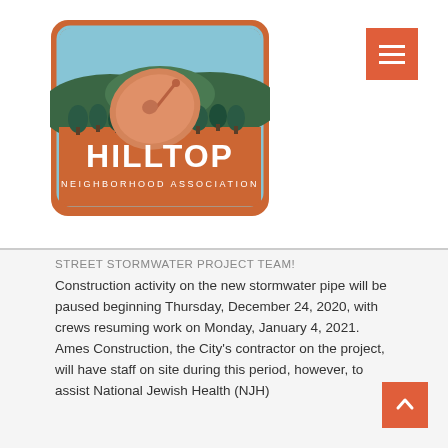[Figure (logo): Hilltop Neighborhood Association logo: rounded rectangle with orange/brown border, sky blue upper area with trees and hills, a satellite dish on orange-brown ground, with text HILLTOP in large white letters and NEIGHBORHOOD ASSOCIATION below]
STREET STORMWATER PROJECT TEAM! Construction activity on the new stormwater pipe will be paused beginning Thursday, December 24, 2020, with crews resuming work on Monday, January 4, 2021. Ames Construction, the City's contractor on the project, will have staff on site during this period, however, to assist National Jewish Health (NJH)